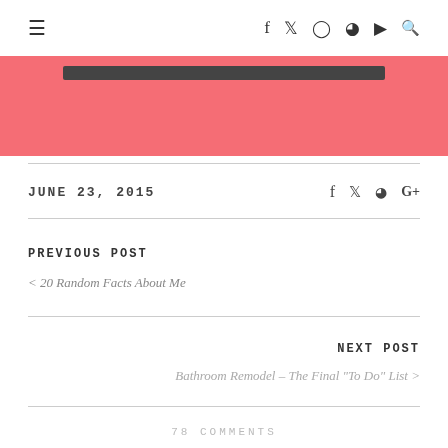≡  f  twitter  instagram  pinterest  youtube  search
[Figure (other): Pink/coral banner with dark rounded rectangle inside]
JUNE 23, 2015
PREVIOUS POST
< 20 Random Facts About Me
NEXT POST
Bathroom Remodel – The Final "To Do" List >
78 COMMENTS